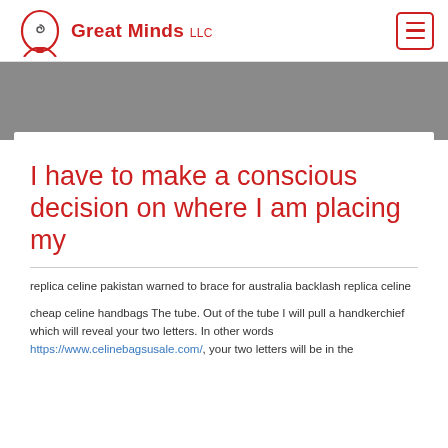[Figure (logo): Great Minds LLC logo with a stylized head/spiral icon in red and the text 'Great Minds LLC' in red bold]
I have to make a conscious decision on where I am placing my
replica celine pakistan warned to brace for australia backlash replica celine
cheap celine handbags The tube. Out of the tube I will pull a handkerchief which will reveal your two letters. In other words https://www.celinebagsusale.com/, your two letters will be in the